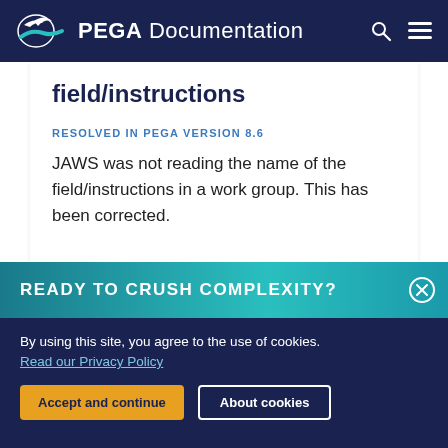PEGA Documentation
field/instructions
RESOLVED IN PEGA VERSION 8.6
JAWS was not reading the name of the field/instructions in a work group. This has been corrected.
READY TO CRUSH COMPLEXITY?
By using this site, you agree to the use of cookies. Read our Privacy Policy
Accept and continue
About cookies